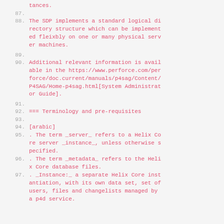tances.
87.
88. The SDP implements a standard logical directory structure which can be implemented fleixbly on one or many physical server machines.
89.
90. Additional relevant information is available in the https://www.perforce.com/perforce/doc.current/manuals/p4sag/Content/P4SAG/Home-p4sag.html[System Administrator Guide].
91.
92. === Terminology and pre-requisites
93.
94. [arabic]
95. . The term _server_ refers to a Helix Core server _instance_, unless otherwise specified.
96. . The term _metadata_ refers to the Helix Core database files.
97. . _Instance:_ a separate Helix Core instantiation, with its own data set, set of users, files and changelists managed by a p4d service.